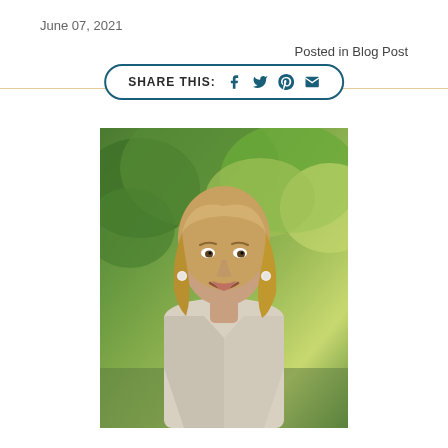June 07, 2021
Posted in Blog Post
[Figure (infographic): Share This social media button with icons for Facebook, Twitter, Pinterest, and Email, enclosed in a rounded rectangle border in dark teal color]
[Figure (photo): Professional headshot of a blonde woman smiling, wearing a light patterned blazer, with green trees in the background]